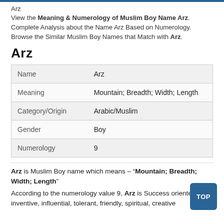Arz
View the Meaning & Numerology of Muslim Boy Name Arz. Complete Analysis about the Name Arz Based on Numerology. Browse the Similar Muslim Boy Names that Match with Arz.
Arz
| Name | Arz |
| Meaning | Mountain; Breadth; Width; Length |
| Category/Origin | Arabic/Muslim |
| Gender | Boy |
| Numerology | 9 |
Arz is Muslim Boy name which means – "Mountain; Breadth; Width; Length"
According to the numerology value 9, Arz is Success oriented, inventive, influential, tolerant, friendly, spiritual, creative